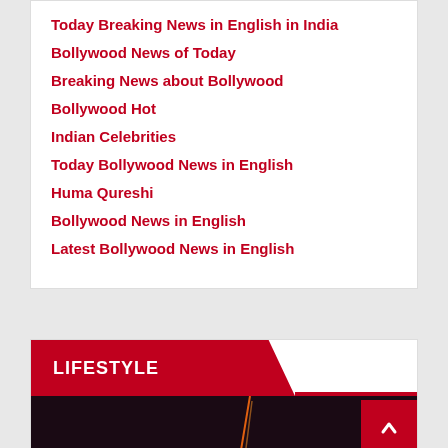Today Breaking News in English in India
Bollywood News of Today
Breaking News about Bollywood
Bollywood Hot
Indian Celebrities
Today Bollywood News in English
Huma Qureshi
Bollywood News in English
Latest Bollywood News in English
LIFESTYLE
[Figure (photo): Dark image with orange/light element, partially visible at bottom of page]